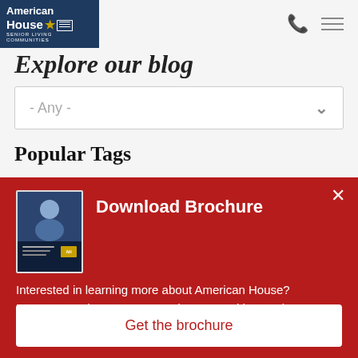[Figure (logo): American House Senior Living Communities logo — white text on dark navy background]
Explore our blog
[Figure (screenshot): Dropdown filter control labeled '- Any -' with chevron arrow on right]
Popular Tags
[Figure (infographic): Red Download Brochure overlay panel with brochure thumbnail image, close button (×), descriptive text, and 'Get the brochure' button]
Interested in learning more about American House? Learn more about our care options, amenities, and more...
Get the brochure